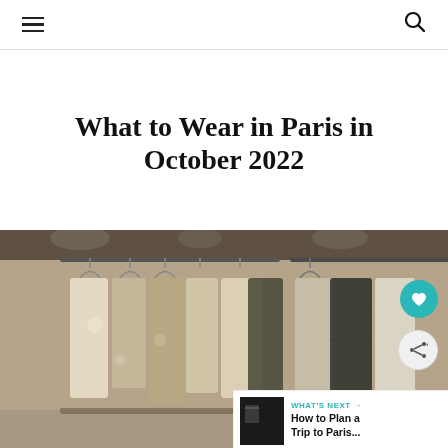Navigation header with hamburger menu and search icon
What to Wear in Paris in October 2022
[Figure (photo): Clothing rack with various garments hanging on hangers in a boutique store, with warm lighting. Two buttons overlay: a teal heart/save button and a grey share button. A 'What's Next' panel in the bottom-right corner shows 'How to Plan a Trip to Paris...']